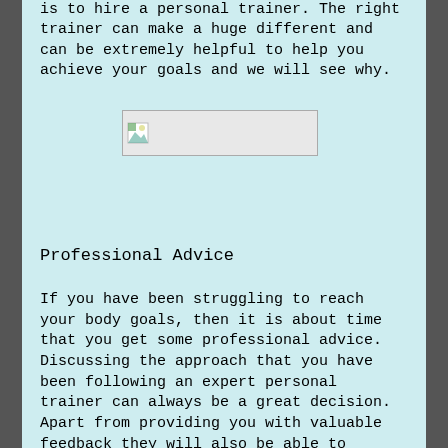is to hire a personal trainer. The right trainer can make a huge different and can be extremely helpful to help you achieve your goals and we will see why.
[Figure (photo): Broken image placeholder with small icon]
Professional Advice
If you have been struggling to reach your body goals, then it is about time that you get some professional advice. Discussing the approach that you have been following an expert personal trainer can always be a great decision. Apart from providing you with valuable feedback they will also be able to determine that what you are doing wrong that is stopping you from reaching your goals. Furthermore, they are going to provide you with proper guidance on the changes you could make in your training regime along with your daily life that can help you reach your desired